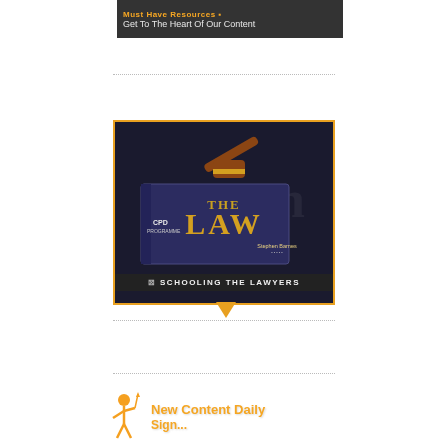[Figure (illustration): Top dark banner with orange 'Must Have Resources' text and icon, subtitle 'Get To The Heart Of Our Content' in light text]
[Figure (illustration): Book cover image showing 'THE LAW' book with a gavel on top, labeled 'CPD PROGRAMME' by Stephen Barnes, with orange border and 'Schooling The Lawyers' text bar at bottom, with speech bubble pointer]
[Figure (illustration): Orange figure holding a spear next to 'New Content Daily' and 'Sign...' text in orange bold font]